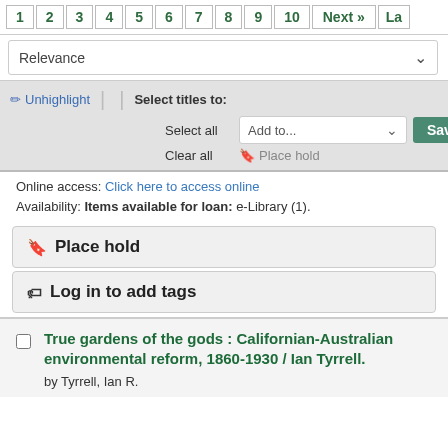1 2 3 4 5 6 7 8 9 10 Next » La
Relevance
✏ Unhighlight | | Select titles to: Select all Add to... Save Clear all 🔖 Place hold
Online access: Click here to access online
Availability: Items available for loan: e-Library (1).
🔖 Place hold
🏷 Log in to add tags
True gardens of the gods : Californian-Australian environmental reform, 1860-1930 / Ian Tyrrell.
by Tyrrell, Ian R.